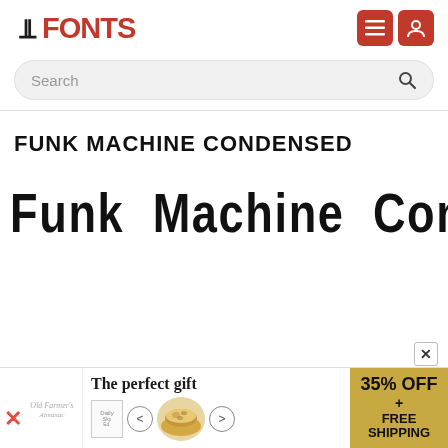FFONTS
Search
FUNK MACHINE CONDENSED
[Figure (other): Font preview showing 'Funk Machine Condensed' rendered in the Funk Machine Condensed typeface — bold, condensed, black letterforms]
The perfect gift | 35% OFF + FREE SHIPPING